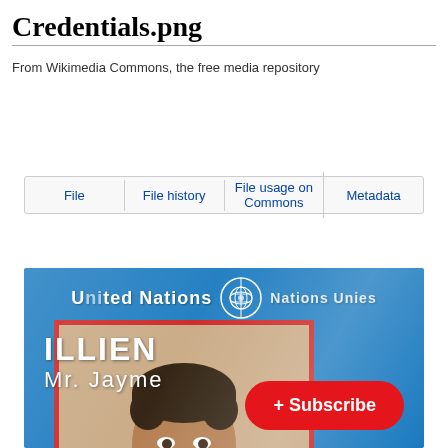Credentials.png
From Wikimedia Commons, the free media repository
| File | File history | File usage on Commons | Metadata |
| --- | --- | --- | --- |
[Figure (photo): A United Nations credentials badge in blue with a red-bordered ID photo showing a young man (ILLIEN, Mr. Jayme), with a Subscribe button overlaid in the bottom right corner.]